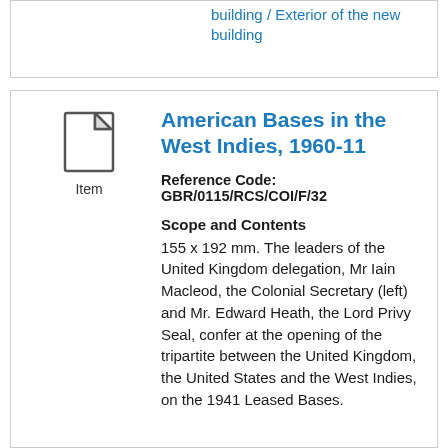building / Exterior of the new building
[Figure (illustration): Document/item icon above the label 'Item']
American Bases in the West Indies, 1960-11
Reference Code: GBR/0115/RCS/COI/F/32
Scope and Contents
155 x 192 mm. The leaders of the United Kingdom delegation, Mr Iain Macleod, the Colonial Secretary (left) and Mr. Edward Heath, the Lord Privy Seal, confer at the opening of the tripartite between the United Kingdom, the United States and the West Indies, on the 1941 Leased Bases.